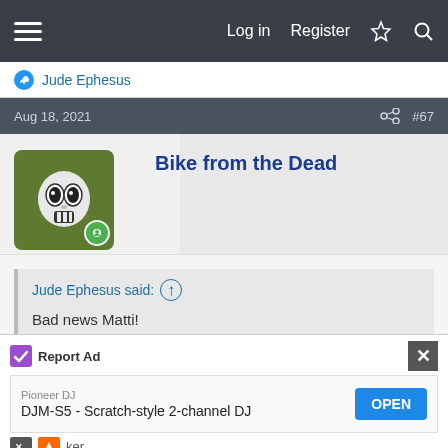Log in  Register
Jude Ephesus
Aug 18, 2021  #67
Bike from the Dead
Jude Ephesus said: ↑

Bad news Matti!

I've just had it with this Schwinn!!!

I LOVE the frame, but have no idea what to do with it.

Ive had it on FB market place and Craigslist for two months and I
Report Ad  Pioneer DJ  DJM-S5 - Scratch-style 2-channel DJ  OPEN